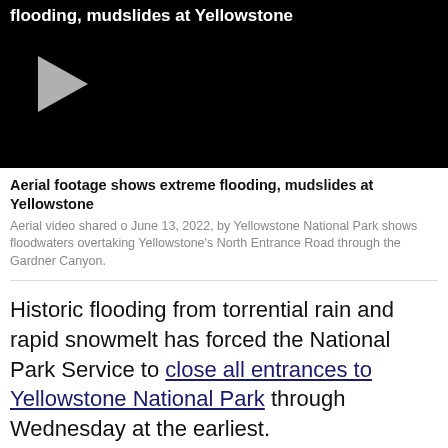[Figure (screenshot): Black video player with gray play button triangle on left side and partial title text visible at top]
Aerial footage shows extreme flooding, mudslides at Yellowstone
Aerial video shared o June 13, 2022, by Yellowstone National Park shows floodwaters overtaking Yellowstone’s North Entrance Road through the Gardner Canyon.
Historic flooding from torrential rain and rapid snowmelt has forced the National Park Service to close all entrances to Yellowstone National Park through Wednesday at the earliest.